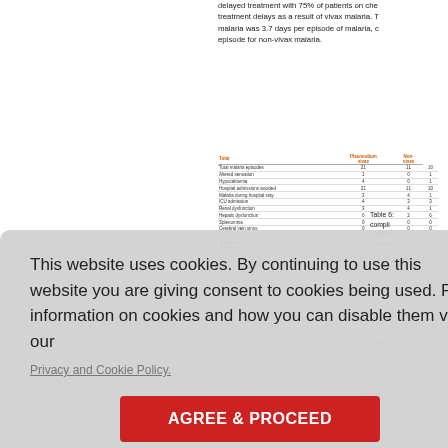delayed treatment with 75% of patients on chemotherapy experiencing treatment delays as a result of vivax malaria. The median delay for vivax malaria was 3.7 days per episode of malaria, compared to 1 day per episode for non-vivax malaria.
[Figure (table-as-image): Small table showing malaria complications data including total malaria episodes, altered sensation, hypocalcemia, hospital admissions avoided, malaria during hospital stay, ICU admission, renal dysfunction, hepatic dysfunction, thrombocytopenia, cerebral vein sinus, death, baseline anemia at presentation (HbCT1), sickle crisis, platelet >100,000, platelet transfusion, blood transfusion, scheduled treatment delays, chemotherapy delayed, days delayed. Columns: Total, Plasmodium vivax, Non-vivax.]
Table 6: Malaria complications noted in Plasmodium vivax and non-Plasmodium vivax malaria episodes.
Click h
laria episodes in patients on chemotherapy at time of malaria. Complications noted contracted malaria nd in patients episodes in he non-chemotherapy anemia, thrombocytopenia, l products, and ents in patients in patients on other types of therapy.
This website uses cookies. By continuing to use this website you are giving consent to cookies being used. For information on cookies and how you can disable them visit our
Privacy and Cookie Policy.
AGREE & PROCEED